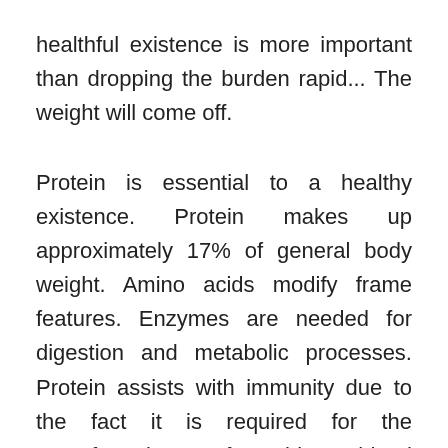healthful existence is more important than dropping the burden rapid... The weight will come off.
Protein is essential to a healthy existence. Protein makes up approximately 17% of general body weight. Amino acids modify frame features. Enzymes are needed for digestion and metabolic processes. Protein assists with immunity due to the fact it is required for the manufacturing of white blood cells.Complete protein sources contain all nine amino acids. These proteins are